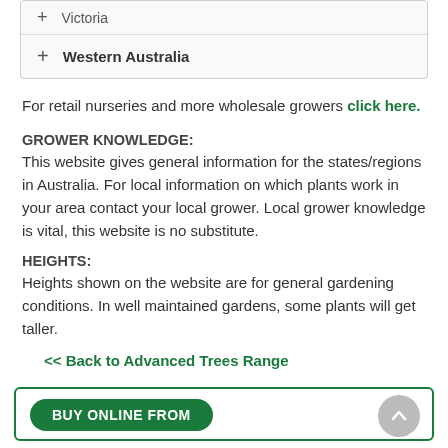+ Victoria
+ Western Australia
For retail nurseries and more wholesale growers click here.
GROWER KNOWLEDGE:
This website gives general information for the states/regions in Australia. For local information on which plants work in your area contact your local grower. Local grower knowledge is vital, this website is no substitute.
HEIGHTS:
Heights shown on the website are for general gardening conditions. In well maintained gardens, some plants will get taller.
<< Back to Advanced Trees Range
BUY ONLINE FROM